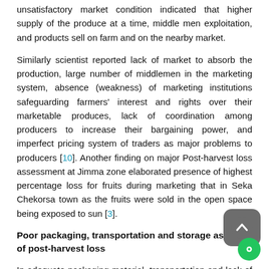unsatisfactory market condition indicated that higher supply of the produce at a time, middle men exploitation, and products sell on farm and on the nearby market.
Similarly scientist reported lack of market to absorb the production, large number of middlemen in the marketing system, absence (weakness) of marketing institutions safeguarding farmers' interest and rights over their marketable produces, lack of coordination among producers to increase their bargaining power, and imperfect pricing system of traders as major problems to producers [10]. Another finding on major Post-harvest loss assessment at Jimma zone elaborated presence of highest percentage loss for fruits during marketing that in Seka Chekorsa town as the fruits were sold in the open space being exposed to sun [3].
Poor packaging, transportation and storage as factor of post-harvest loss
In adequate packaging material, transportation and lack of appropriate storage facility were reported as factor of